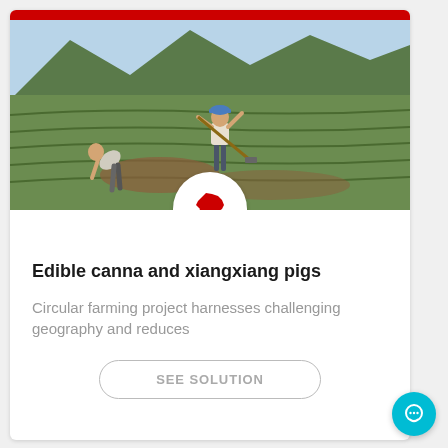[Figure (photo): Farmers working on terraced hillside fields in China, one standing and hoeing, another bent over working the soil, with green terraced slopes in the background]
[Figure (illustration): Asia region map icon in red on a white circular badge]
Edible canna and xiangxiang pigs
Circular farming project harnesses challenging geography and reduces
SEE SOLUTION